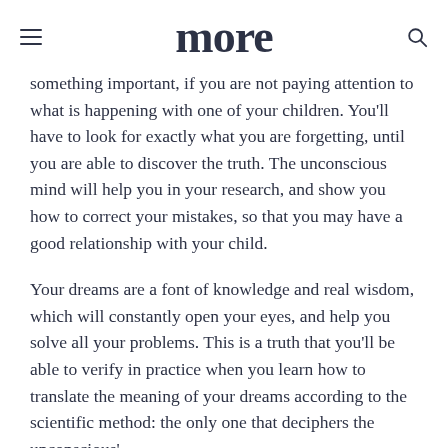more
something important, if you are not paying attention to what is happening with one of your children. You'll have to look for exactly what you are forgetting, until you are able to discover the truth. The unconscious mind will help you in your research, and show you how to correct your mistakes, so that you may have a good relationship with your child.
Your dreams are a font of knowledge and real wisdom, which will constantly open your eyes, and help you solve all your problems. This is a truth that you'll be able to verify in practice when you learn how to translate the meaning of your dreams according to the scientific method: the only one that deciphers the unconscious'